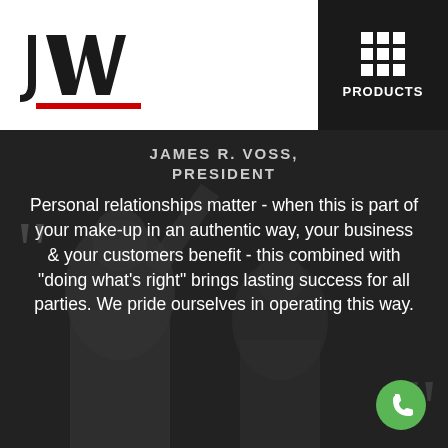[Figure (logo): JWI company logo in black bold stylized letters with red underline bar]
[Figure (infographic): Products navigation button with 3x3 white dot grid icon on dark background, labeled PRODUCTS]
JAMES R. VOSS, PRESIDENT
Personal relationships matter - when this is part of your make-up in an authentic way, your business & your customers benefit - this combined with "doing what's right" brings lasting success for all parties. We pride ourselves in operating this way.